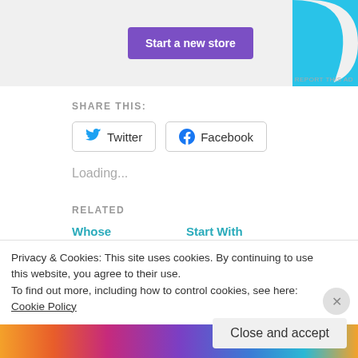[Figure (screenshot): Ad banner with purple 'Start a new store' button and cyan shape on right, with REPORT THIS AD text]
SHARE THIS:
Twitter  Facebook
Loading...
RELATED
Whose Liberation?
August 11, 2017
Start With Relationships
July 13, 2017
Privacy & Cookies: This site uses cookies. By continuing to use this website, you agree to their use.
To find out more, including how to control cookies, see here: Cookie Policy
Close and accept